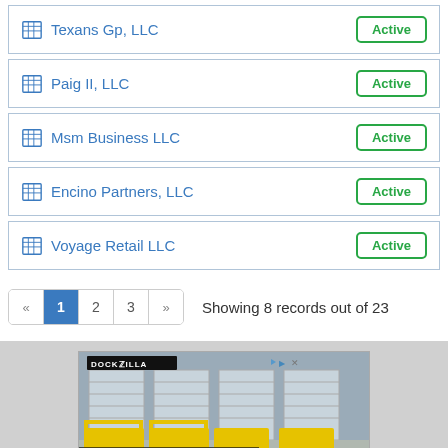| Entity Name | Status |
| --- | --- |
| Texans Gp, LLC | Active |
| Paig II, LLC | Active |
| Msm Business LLC | Active |
| Encino Partners, LLC | Active |
| Voyage Retail LLC | Active |
Showing 8 records out of 23
[Figure (screenshot): DockZilla advertisement banner showing yellow loading dock equipment with text EXPAND WITHOUT CONSTRUCTION and LEARN MORE button]